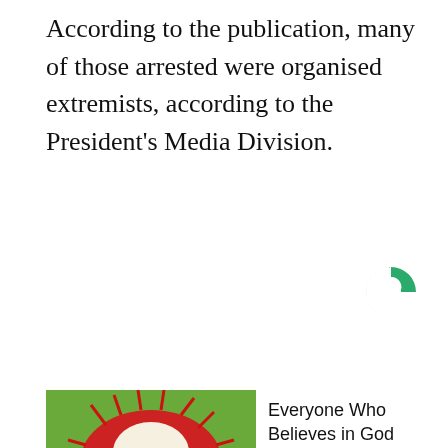According to the publication, many of those arrested were organised extremists, according to the President's Media Division.
[Figure (logo): Circular logo mark — dark grey C shape with teal/green upper-right fill]
[Figure (photo): A hand holding open a rambutan fruit showing white interior flesh against a green leafy outdoor background]
Everyone Who Believes in God Should Watch This
Exodus Effect
SUBSCRIBE TO GREATGAMEINDIA
Enter your email address to subscribe to GGI and receive notifications of new posts by email.